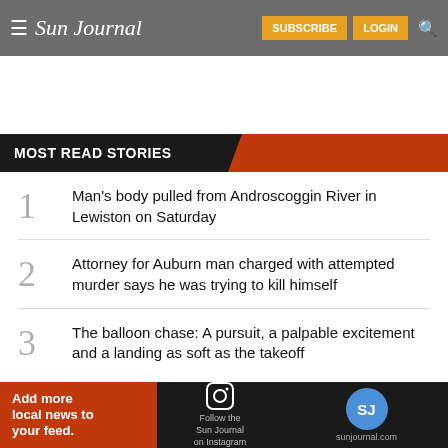Sun Journal — SUBSCRIBE LOGIN
MOST READ STORIES
1 Man's body pulled from Androscoggin River in Lewiston on Saturday
2 Attorney for Auburn man charged with attempted murder says he was trying to kill himself
3 The balloon chase: A pursuit, a palpable excitement and a landing as soft as the takeoff
[Figure (infographic): Footer advertisement: Add more local news to your feed. Follow the Sun Journal on Instagram. sunjournal.com with SJ logo circle.]